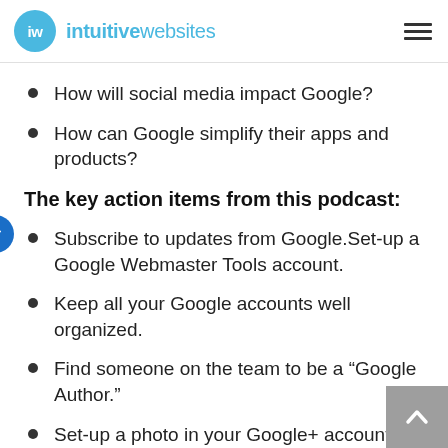iw intuitive websites
How will social media impact Google?
How can Google simplify their apps and products?
The key action items from this podcast:
Subscribe to updates from Google.Set-up a Google Webmaster Tools account.
Keep all your Google accounts well organized.
Find someone on the team to be a “Google Author.”
Set-up a photo in your Google+ account.